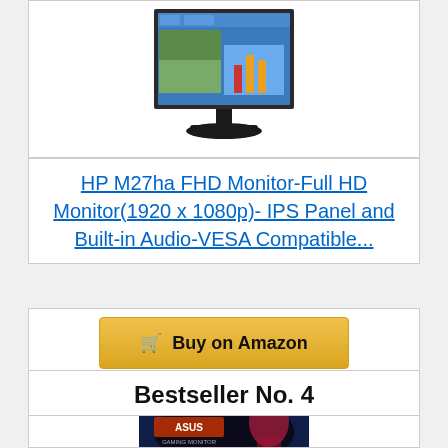[Figure (photo): HP M27ha monitor on a stand, with a desktop UI displayed on screen showing a bar chart and nature imagery]
HP M27ha FHD Monitor-Full HD Monitor(1920 x 1080p)- IPS Panel and Built-in Audio-VESA Compatible...
Buy on Amazon
Bestseller No. 4
[Figure (photo): ASUS Gaming Monitor product image with gaming graphics and NVIDIA logo]